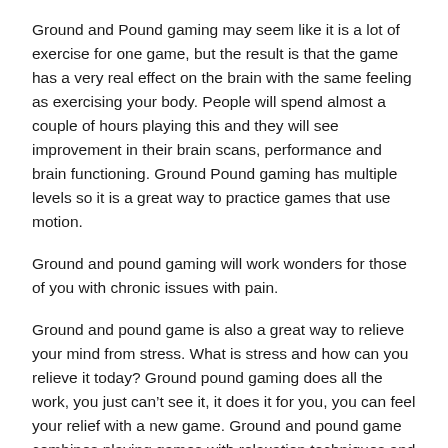Ground and Pound gaming may seem like it is a lot of exercise for one game, but the result is that the game has a very real effect on the brain with the same feeling as exercising your body. People will spend almost a couple of hours playing this and they will see improvement in their brain scans, performance and brain functioning. Ground Pound gaming has multiple levels so it is a great way to practice games that use motion.
Ground and pound gaming will work wonders for those of you with chronic issues with pain.
Ground and pound game is also a great way to relieve your mind from stress. What is stress and how can you relieve it today? Ground pound gaming does all the work, you just can't see it, it does it for you, you can feel your relief with a new game. Ground and pound game combines playing games with relaxation techniques and sports.